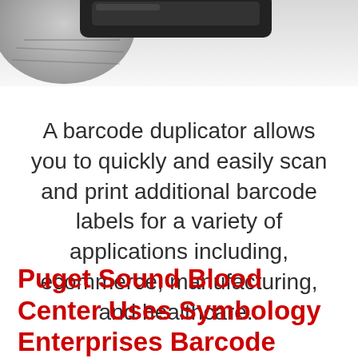[Figure (photo): Partial image at top of page showing a dark barcode scanner device and a circular logo/globe graphic on a light gray/white background]
A barcode duplicator allows you to quickly and easily scan and print additional barcode labels for a variety of applications including, ecommerce, manufacturing, and healthcare..
Puget Sound Blood Center Uses Symbology Enterprises Barcode